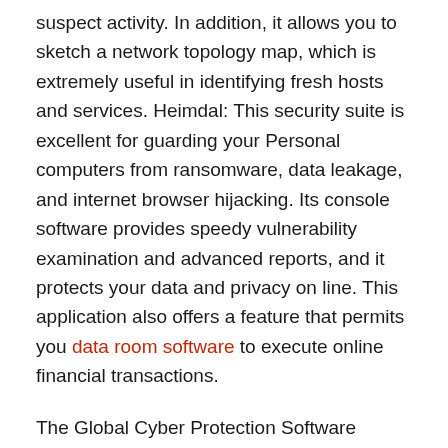suspect activity. In addition, it allows you to sketch a network topology map, which is extremely useful in identifying fresh hosts and services. Heimdal: This security suite is excellent for guarding your Personal computers from ransomware, data leakage, and internet browser hijacking. Its console software provides speedy vulnerability examination and advanced reports, and it protects your data and privacy on line. This application also offers a feature that permits you data room software to execute online financial transactions.
The Global Cyber Protection Software Market is segmented by deployment style, service type, organization size, app, and geography. Cloud-based deployment setting is supposed to grow at a faster rate than On-site deployment version. Enterprises happen to be embracing cloud-based deployment as a cost-effective approach to deploy cybersecurity applications. In addition to security control, cyber protection software coders also need to have a good comprehension of operating systems. And so, they have created them